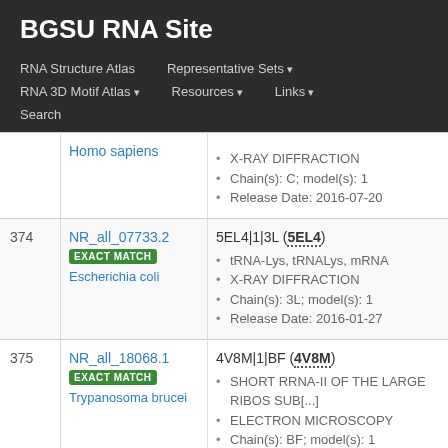BGSU RNA Site
RNA Structure Atlas | Representative Sets ▾ | RNA 3D Motif Atlas ▾ | Resources ▾ | Links ▾ | Search
| # | ID / Organism | Entry Details |
| --- | --- | --- |
|  | Homo sapiens | X-RAY DIFFRACTION
Chain(s): C; model(s): 1
Release Date: 2016-07-20 |
| 374 | NR_all_07733.2 EXACT MATCH Escherichia coli | 5EL4|1|3L (5EL4)
tRNA-Lys, tRNALys, mRNA
X-RAY DIFFRACTION
Chain(s): 3L; model(s): 1
Release Date: 2016-01-27 |
| 375 | NR_all_18068.1 EXACT MATCH Trypanosoma brucei | 4V8M|1|BF (4V8M)
SHORT RRNA-II OF THE LARGE RIBOS SUB[...]
ELECTRON MICROSCOPY
Chain(s): BF; model(s): 1 |